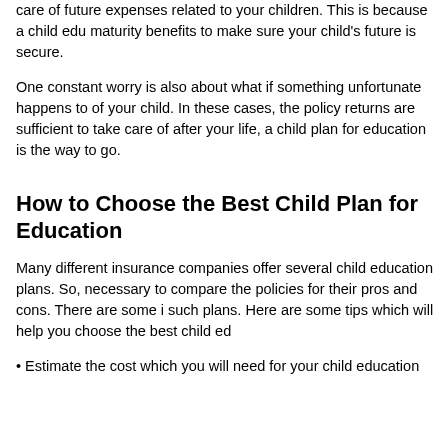care of future expenses related to your children. This is because a child edu maturity benefits to make sure your child's future is secure.
One constant worry is also about what if something unfortunate happens to of your child. In these cases, the policy returns are sufficient to take care of after your life, a child plan for education is the way to go.
How to Choose the Best Child Plan for Education
Many different insurance companies offer several child education plans. So, necessary to compare the policies for their pros and cons. There are some i such plans. Here are some tips which will help you choose the best child ed
Estimate the cost which you will need for your child education